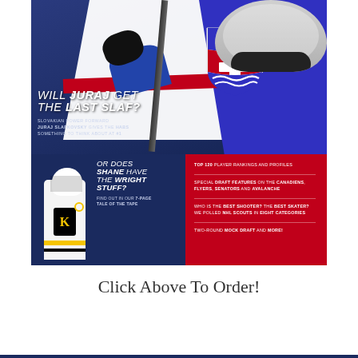[Figure (photo): Magazine cover featuring Juraj Slafkovsky in Slovak hockey jersey (top) and Shane Wright in Kingston Frontenacs jersey (bottom left), with red panel on bottom right listing features]
WILL JURAJ GET THE LAST SLAF? SLOVAKIAN POWER FORWARD JURAJ SLAFKOVSKY GIVES THE HABS SOMETHING TO THINK ABOUT AT #1. OR DOES SHANE HAVE THE WRIGHT STUFF? FIND OUT IN OUR 7-PAGE TALE OF THE TAPE. TOP 120 PLAYER RANKINGS AND PROFILES. SPECIAL DRAFT FEATURES ON THE CANADIENS, FLYERS, SENATORS AND AVALANCHE. WHO IS THE BEST SHOOTER? THE BEST SKATER? WE POLLED NHL SCOUTS IN EIGHT CATEGORIES. TWO-ROUND MOCK DRAFT AND MORE!
Click Above To Order!